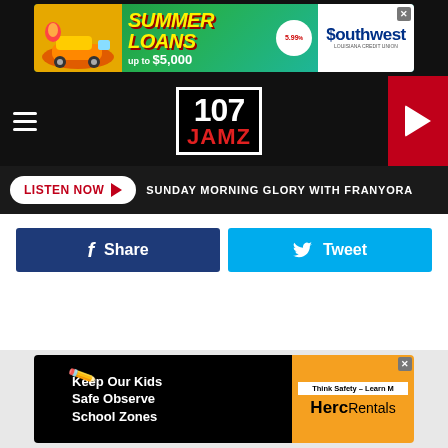[Figure (illustration): Top banner advertisement: Summer Loans up to $5,000 at 5.99% - Southwest Louisiana Credit Union]
[Figure (logo): 107 JAMZ radio station logo in white/red on black background]
LISTEN NOW ▶  SUNDAY MORNING GLORY WITH FRANYORA
Share
Tweet
[Figure (illustration): Bottom banner advertisement: Keep Our Kids Safe Observe School Zones - Think Safety Learn More - HercRentals]